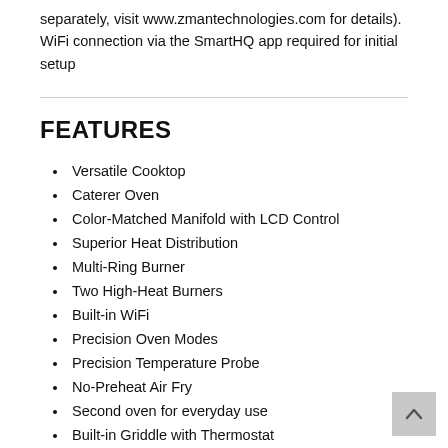separately, visit www.zmantechnologies.com for details). WiFi connection via the SmartHQ app required for initial setup
FEATURES
Versatile Cooktop
Caterer Oven
Color-Matched Manifold with LCD Control
Superior Heat Distribution
Multi-Ring Burner
Two High-Heat Burners
Built-in WiFi
Precision Oven Modes
Precision Temperature Probe
No-Preheat Air Fry
Second oven for everyday use
Built-in Griddle with Thermostat
Two Griddle Burners
Five Self-Clean Racks